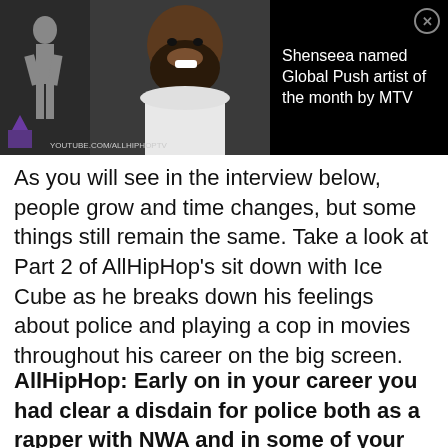[Figure (screenshot): Black banner ad showing a YouTube video thumbnail on the left (person with beard in white hoodie, woman silhouette) with text 'Shenshea named Global Push artist of the month by MTV' on the right, with a close (X) button]
As you will see in the interview below, people grow and time changes, but some things still remain the same. Take a look at Part 2 of AllHipHop's sit down with Ice Cube as he breaks down his feelings about police and playing a cop in movies throughout his career on the big screen.
AllHipHop: Early on in your career you had clear a disdain for police both as a rapper with NWA and in some of your early roles